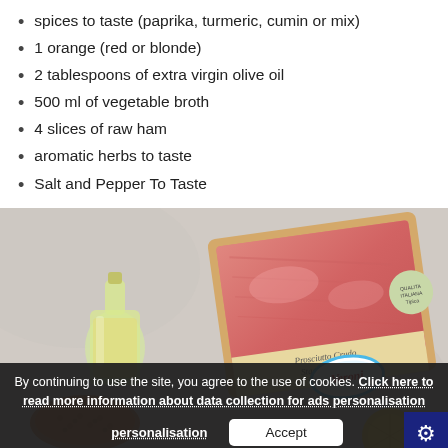spices to taste (paprika, turmeric, cumin or mix)
1 orange (red or blonde)
2 tablespoons of extra virgin olive oil
500 ml of vegetable broth
4 slices of raw ham
aromatic herbs to taste
Salt and Pepper To Taste
[Figure (photo): Overhead view of raw ham packaging (Veroni Prosciutto Crudo Stagionato), a glass bottle of olive oil, and red lentils on a light stone background. Cookie consent banner overlaid at bottom.]
By continuing to use the site, you agree to the use of cookies. Click here to read more information about data collection for ads personalisation
Accept